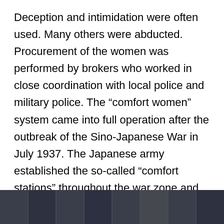Deception and intimidation were often used. Many others were abducted. Procurement of the women was performed by brokers who worked in close coordination with local police and military police. The “comfort women” system came into full operation after the outbreak of the Sino-Japanese War in July 1937. The Japanese army established the so-called “comfort stations” throughout the war zone and was involved in their operation directly and indirectly until Japan’s defeat in August 1945. After the war, the fact about the comfort women system remained unnoticed to the public for decades. Like other sex crimes, the systematic rape crime by